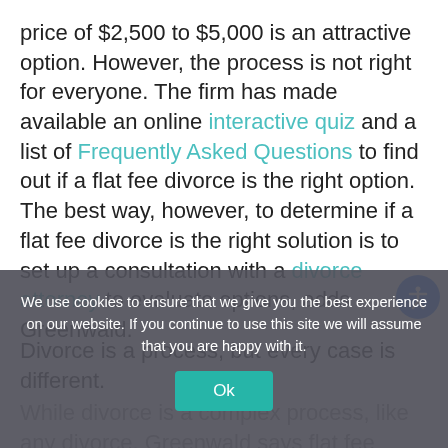price of $2,500 to $5,000 is an attractive option. However, the process is not right for everyone. The firm has made available an online interactive quiz and a list of Frequently Asked Questions to find out if a flat fee divorce is the right option. The best way, however, to determine if a flat fee divorce is the right solution is to set up a consultation with a divorce attorney to evaluate options, adds Greenwald.
Divorce is a process, but every case is different.
While divorce is a complex process, like any divorce, Greenwald says flat fee divorce should not be seen as a "cheap" alternative. Going after a "cheap" divorce may have
We use cookies to ensure that we give you the best experience on our website. If you continue to use this site we will assume that you are happy with it.